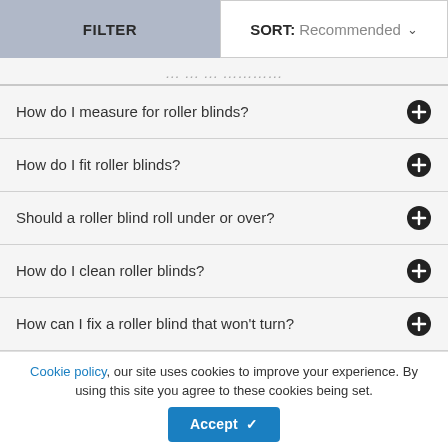FILTER | SORT: Recommended
... (partially visible title text)
How do I measure for roller blinds?
How do I fit roller blinds?
Should a roller blind roll under or over?
How do I clean roller blinds?
How can I fix a roller blind that won't turn?
Cookie policy, our site uses cookies to improve your experience. By using this site you agree to these cookies being set. Accept